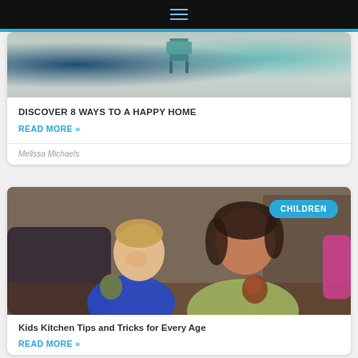Navigation menu
[Figure (photo): Partial view of a room interior with teal/turquoise furniture and floral wallpaper accents]
DISCOVER 8 WAYS TO A HAPPY HOME
READ MORE »
Melissa Michaels
[Figure (photo): Two children laughing and holding apples/fruit, a young blond boy in a blue shirt and an older girl in a light green shirt]
Kids Kitchen Tips and Tricks for Every Age
READ MORE »